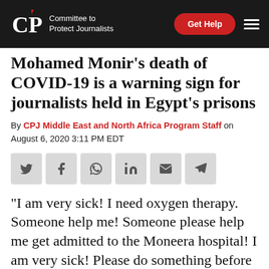CPJ Committee to Protect Journalists | Get Help
Mohamed Monir's death of COVID-19 is a warning sign for journalists held in Egypt's prisons
By CPJ Middle East and North Africa Program Staff on August 6, 2020 3:11 PM EDT
[Figure (other): Social sharing icon buttons: Twitter, Facebook, WhatsApp, LinkedIn, Email, Telegram]
“I am very sick! I need oxygen therapy. Someone help me! Someone please help me get admitted to the Moneera hospital! I am very sick! Please do something before I completely run out of breath!”